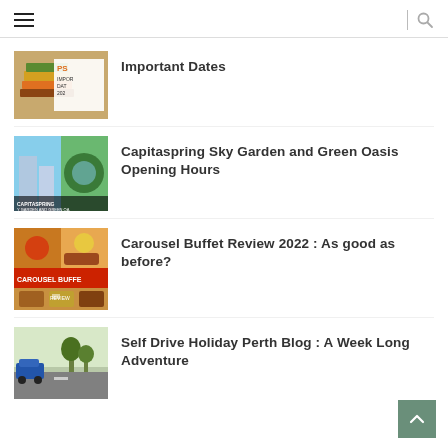Navigation menu with hamburger icon and search icon
Important Dates
Capitaspring Sky Garden and Green Oasis Opening Hours
Carousel Buffet Review 2022 : As good as before?
Self Drive Holiday Perth Blog : A Week Long Adventure